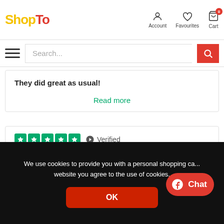[Figure (logo): ShopTo logo with yellow 'Shop' and red 'To' text]
[Figure (screenshot): Navigation icons: Account, Favourites, Cart with badge 0]
[Figure (screenshot): Search bar with hamburger menu icon and red search button]
They did great as usual!
Read more
[Figure (screenshot): Five green Trustpilot stars with Verified badge]
Chris R, 9 hours ago
Another great purchase from ShopTo
Read more
We use cookies to provide you with a personal shopping ca... website you agree to the use of cookies.
[Figure (screenshot): Red chat bubble with Messenger icon and Chat text]
OK